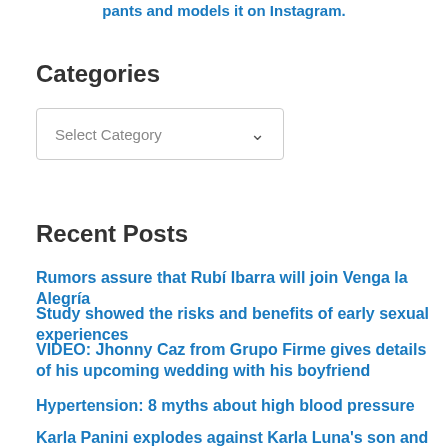pants and models it on Instagram.
Categories
Select Category
Recent Posts
Rumors assure that Rubí Ibarra will join Venga la Alegría
Study showed the risks and benefits of early sexual experiences
VIDEO: Jhonny Caz from Grupo Firme gives details of his upcoming wedding with his boyfriend
Hypertension: 8 myths about high blood pressure
Karla Panini explodes against Karla Luna's son and receives